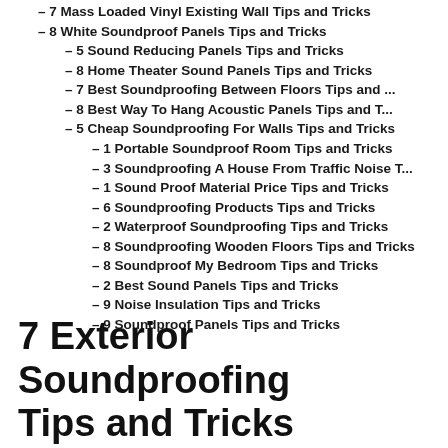– 7 Mass Loaded Vinyl Existing Wall Tips and Tricks
– 8 White Soundproof Panels Tips and Tricks
– 5 Sound Reducing Panels Tips and Tricks
– 8 Home Theater Sound Panels Tips and Tricks
– 7 Best Soundproofing Between Floors Tips and ...
– 8 Best Way To Hang Acoustic Panels Tips and T...
– 5 Cheap Soundproofing For Walls Tips and Tricks
– 1 Portable Soundproof Room Tips and Tricks
– 3 Soundproofing A House From Traffic Noise T...
– 1 Sound Proof Material Price Tips and Tricks
– 6 Soundproofing Products Tips and Tricks
– 2 Waterproof Soundproofing Tips and Tricks
– 8 Soundproofing Wooden Floors Tips and Tricks
– 8 Soundproof My Bedroom Tips and Tricks
– 2 Best Sound Panels Tips and Tricks
– 9 Noise Insulation Tips and Tricks
– 9 Soundproof Panels Tips and Tricks
7 Exterior Soundproofing Tips and Tricks